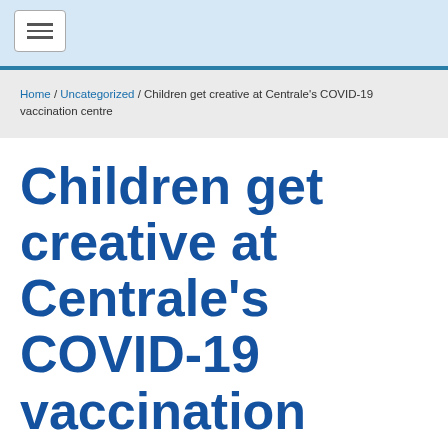Navigation menu toggle button
Home / Uncategorized / Children get creative at Centrale's COVID-19 vaccination centre
Children get creative at Centrale's COVID-19 vaccination centre